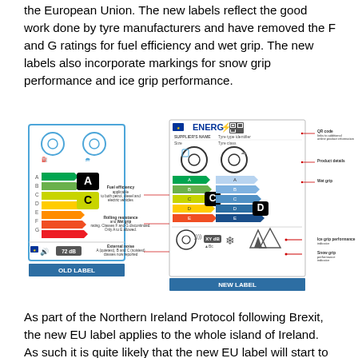the European Union. The new labels reflect the good work done by tyre manufacturers and have removed the F and G ratings for fuel efficiency and wet grip. The new labels also incorporate markings for snow grip performance and ice grip performance.
[Figure (infographic): Diagram comparing old and new EU tyre energy labels, with annotations pointing to features like QR code, fuel efficiency, rolling resistance, wet grip, external noise, ice grip and snow grip performance indicators.]
As part of the Northern Ireland Protocol following Brexit, the new EU label applies to the whole island of Ireland. As such it is quite likely that the new EU label will start to appear on tyres